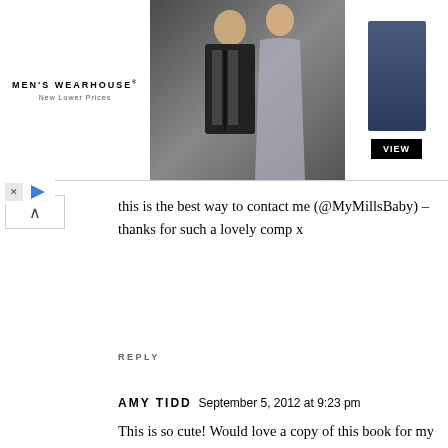[Figure (photo): Men's Wearhouse advertisement banner showing a couple in formal wear and a man in a blue suit with 'VIEW' button]
this is the best way to contact me (@MyMillsBaby) – thanks for such a lovely comp x
REPLY
AMY TIDD September 5, 2012 at 9:23 pm
This is so cute! Would love a copy of this book for my dad go read with my son!! Amy xx @craftythinker
REPLY
BACK TO TOP ^